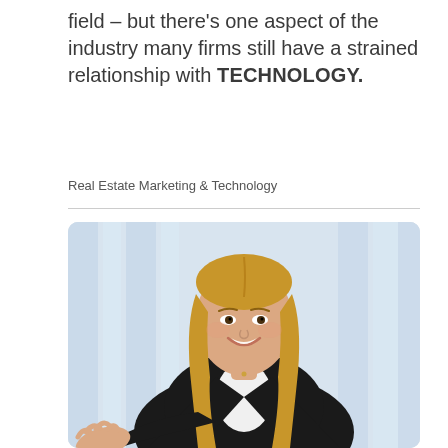field – but there's one aspect of the industry many firms still have a strained relationship with TECHNOLOGY.
Real Estate Marketing & Technology
[Figure (photo): A smiling young businesswoman with long blonde hair wearing a black blazer over a white shirt, extending her hand forward as if for a handshake, with a blurred light background.]